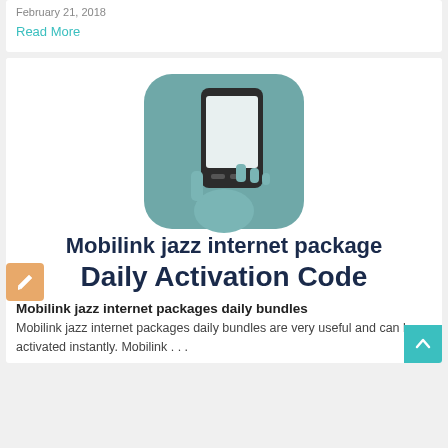February 21, 2018
Read More
[Figure (illustration): A teal rounded-square icon showing a white hand holding a smartphone, with 'Mobilink jazz internet package Daily Activation Code' text below in dark navy font]
Mobilink jazz internet packages daily bundles
Mobilink jazz internet packages daily bundles are very useful and can be activated instantly. Mobilink . . .